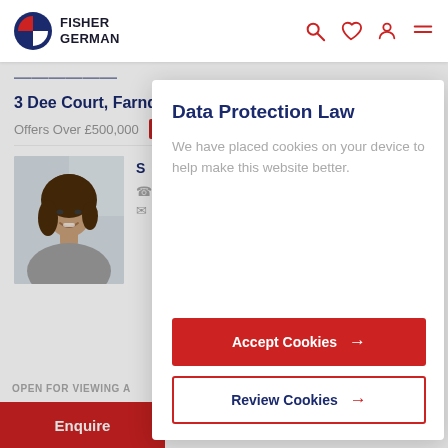Fisher German
3 Dee Court, Farndon, Chester
Offers Over £500,000  Sold
[Figure (photo): Portrait photo of a female estate agent with dark brown hair, smiling, wearing a grey top]
OPEN FOR VIEWING A...
Enquire
Data Protection Law
We have placed cookies on your device to help make this website better.
Accept Cookies →
Review Cookies →